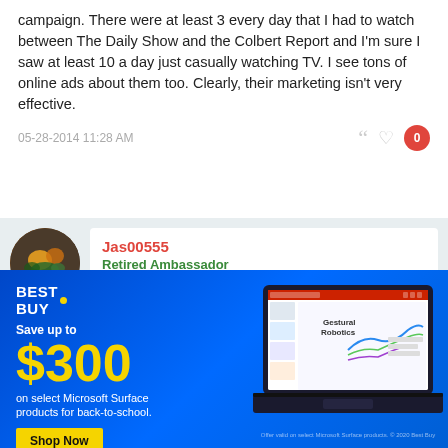campaign. There were at least 3 every day that I had to watch between The Daily Show and the Colbert Report and I'm sure I saw at least 10 a day just casually watching TV. I see tons of online ads about them too. Clearly, their marketing isn't very effective.
05-28-2014 11:28 AM
Jas00555
Retired Ambassador
Originally Posted by A895
But why would I pay for a windows tablet
[Figure (screenshot): Best Buy advertisement. Save up to $300 on select Microsoft Surface products for back-to-school. Shop Now button. Shows a laptop with a PowerPoint presentation open.]